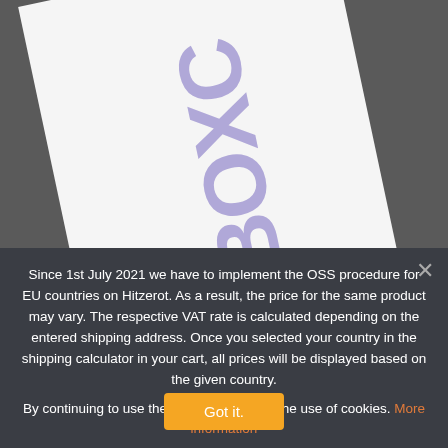[Figure (photo): A white paper or packaging with large purple/lavender bold letters (BOXC or similar) rotated at an angle on a gray background]
Since 1st July 2021 we have to implement the OSS procedure for EU countries on Hitzerot. As a result, the price for the same product may vary. The respective VAT rate is calculated depending on the entered shipping address. Once you selected your country in the shipping calculator in your cart, all prices will be displayed based on the given country.
By continuing to use the site, you agree to the use of cookies. More information
Got it.